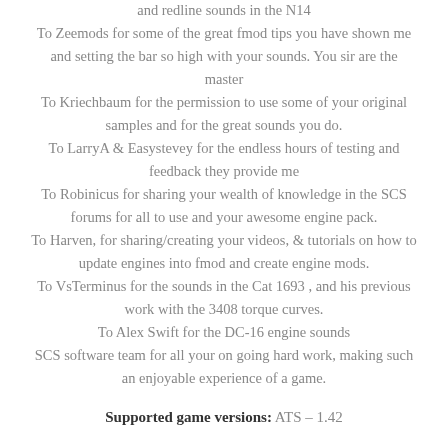and redline sounds in the N14
To Zeemods for some of the great fmod tips you have shown me and setting the bar so high with your sounds. You sir are the master
To Kriechbaum for the permission to use some of your original samples and for the great sounds you do.
To LarryA & Easystevey for the endless hours of testing and feedback they provide me
To Robinicus for sharing your wealth of knowledge in the SCS forums for all to use and your awesome engine pack.
To Harven, for sharing/creating your videos, & tutorials on how to update engines into fmod and create engine mods.
To VsTerminus for the sounds in the Cat 1693 , and his previous work with the 3408 torque curves.
To Alex Swift for the DC-16 engine sounds
SCS software team for all your on going hard work, making such an enjoyable experience of a game.
Supported game versions: ATS – 1.42